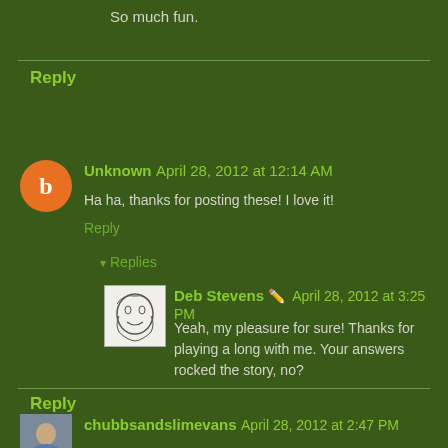So much fun.
Reply
Unknown April 28, 2012 at 12:14 AM
Ha ha, thanks for posting these! I love it!
Reply
Replies
Deb Stevens April 28, 2012 at 3:25 PM
Yeah, my pleasure for sure! Thanks for playing a long with me. Your answers rocked the story, no?
Reply
chubbsandslimevans April 28, 2012 at 2:47 PM